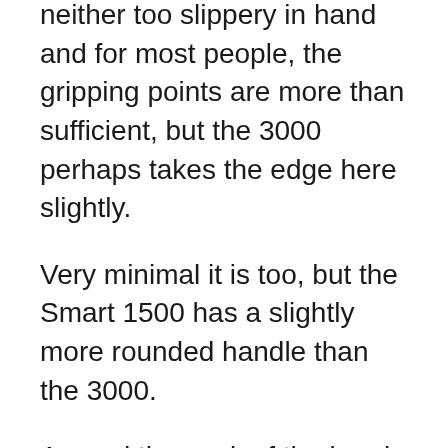neither too slippery in hand and for most people, the gripping points are more than sufficient, but the 3000 perhaps takes the edge here slightly.
Very minimal it is too, but the Smart 1500 has a slightly more rounded handle than the 3000.
Around the neck of the brush handle, both models have a visible pressure sensor, however their design is a little different.
The Smart 3000 has a standard visible pressure sensor seen on many Oral-B models. It is a red colored plastic panel that is mounted on the rear and sweeps onto the side of the handle, wrapping about half of the